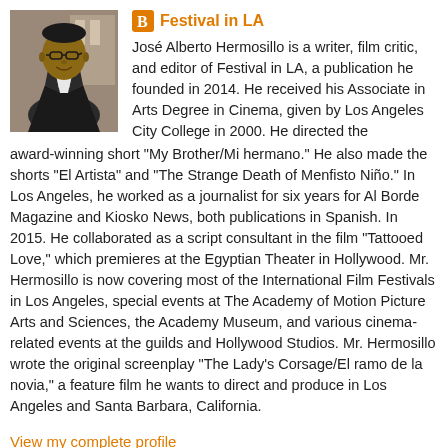[Figure (photo): Headshot photo of José Alberto Hermosillo, a man in a suit and bow tie]
Festival in LA
José Alberto Hermosillo is a writer, film critic, and editor of Festival in LA, a publication he founded in 2014. He received his Associate in Arts Degree in Cinema, given by Los Angeles City College in 2000. He directed the award-winning short "My Brother/Mi hermano." He also made the shorts "El Artista" and "The Strange Death of Menfisto Niño." In Los Angeles, he worked as a journalist for six years for Al Borde Magazine and Kiosko News, both publications in Spanish. In 2015. He collaborated as a script consultant in the film "Tattooed Love," which premieres at the Egyptian Theater in Hollywood. Mr. Hermosillo is now covering most of the International Film Festivals in Los Angeles, special events at The Academy of Motion Picture Arts and Sciences, the Academy Museum, and various cinema-related events at the guilds and Hollywood Studios. Mr. Hermosillo wrote the original screenplay "The Lady's Corsage/El ramo de la novia," a feature film he wants to direct and produce in Los Angeles and Santa Barbara, California.
View my complete profile
Powered by Blogger.